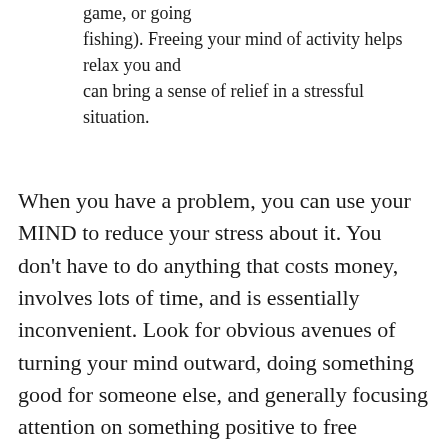game, or going fishing). Freeing your mind of activity helps relax you and can bring a sense of relief in a stressful situation.
When you have a problem, you can use your MIND to reduce your stress about it. You don't have to do anything that costs money, involves lots of time, and is essentially inconvenient. Look for obvious avenues of turning your mind outward, doing something good for someone else, and generally focusing attention on something positive to free yourself. My techniques may or may not work for you, but they have been effective for a few others I've shared them with. If you have a serious problem with depression or stress though and you can't resolve it on your own, I encourage